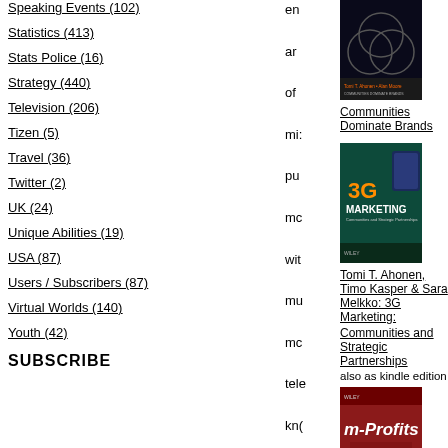Speaking Events (102)
Statistics (413)
Stats Police (16)
Strategy (440)
Television (206)
Tizen (5)
Travel (36)
Twitter (2)
UK (24)
Unique Abilities (19)
USA (87)
Users / Subscribers (87)
Virtual Worlds (140)
Youth (42)
SUBSCRIBE
[Figure (photo): Book cover: Communities Dominate Brands - dark background with overlapping circles graphic]
Communities Dominate Brands
[Figure (photo): Book cover: 3G Marketing - teal/green background with 3G Marketing text]
Tomi T. Ahonen, Timo Kasper & Sara Melkko: 3G Marketing: Communities and Strategic Partnerships
also as kindle edition
[Figure (photo): Book cover: m-Profits: Making Money from 3G Services - red background with woman on phone]
Tomi T. Ahonen: M-Profits: Making Money from 3G Services